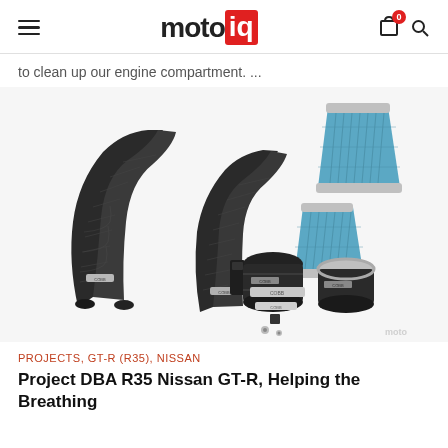motoiq
to clean up our engine compartment. ...
[Figure (photo): COBB carbon fiber intake tubes (two curved carbon fiber pipes), two blue conical air filters, two black rubber couplers/couplings, and small hardware pieces laid out on a white background. Product components of a COBB intake system for Nissan GT-R.]
PROJECTS, GT-R (R35), NISSAN
Project DBA R35 Nissan GT-R, Helping the Breathing